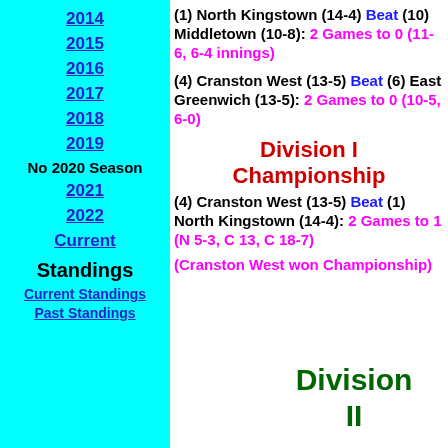2014
2015
2016
2017
2018
2019
No 2020 Season
2021
2022
Current
Standings
Current Standings
Past Standings
(1) North Kingstown (14-4) Beat (10) Middletown (10-8): 2 Games to 0 (11-6, 6-4 innings)
(4) Cranston West (13-5) Beat (6) East Greenwich (13-5): 2 Games to 0 (10-5, 6-0)
Division I Championship
(4) Cranston West (13-5) Beat (1) North Kingstown (14-4): 2 Games to 1 (N 5-3, C 13, C 18-7)
(Cranston West won Championship)
Division II